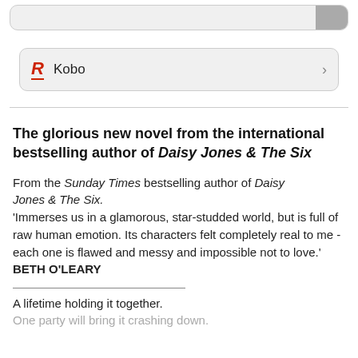[Figure (screenshot): Top navigation bar with gray button on right]
Kobo
The glorious new novel from the international bestselling author of Daisy Jones & The Six
From the Sunday Times bestselling author of Daisy Jones & The Six. 'Immerses us in a glamorous, star-studded world, but is full of raw human emotion. Its characters felt completely real to me - each one is flawed and messy and impossible not to love.' BETH O'LEARY
A lifetime holding it together.
One party will bring it crashing down.